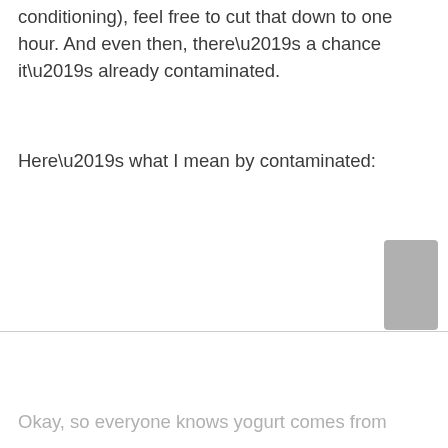conditioning), feel free to cut that down to one hour. And even then, there’s a chance it’s already contaminated.
Here’s what I mean by contaminated:
Okay, so everyone knows yogurt comes from